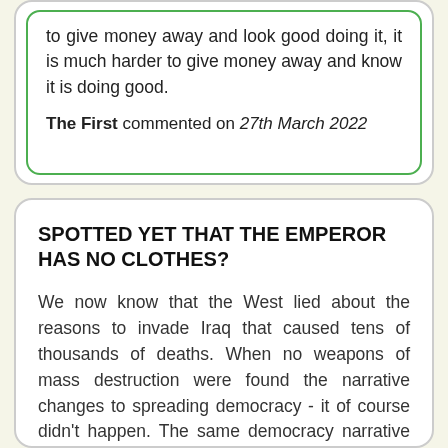to give money away and look good doing it, it is much harder to give money away and know it is doing good.
The First commented on 27th March 2022
SPOTTED YET THAT THE EMPEROR HAS NO CLOTHES?
We now know that the West lied about the reasons to invade Iraq that caused tens of thousands of deaths. When no weapons of mass destruction were found the narrative changes to spreading democracy - it of course didn't happen. The same democracy narrative was used to invade Afghanistan - of course democracy didn't happen either. The same lying narrative